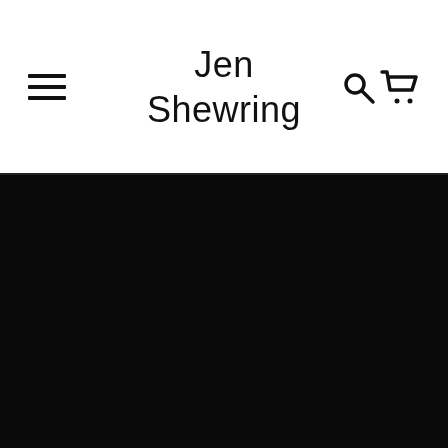Jen Shewring
[Figure (photo): Large dark/black hero image filling the lower portion of the page below the header navigation bar]